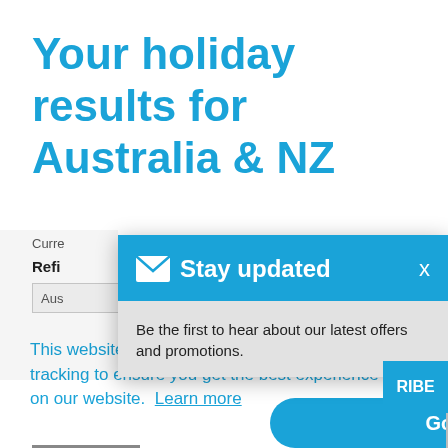Your holiday results for Australia & NZ
Curre
Refi
Aus
This website uses cookies and Google Analytics tracking to ensure you get the best experience on our website. Learn more
[Figure (screenshot): Stay updated modal popup with email icon, close button (x), and text: Be the first to hear about our latest offers and promotions. Partially visible SUBSCRIBE button on the right.]
Got it!